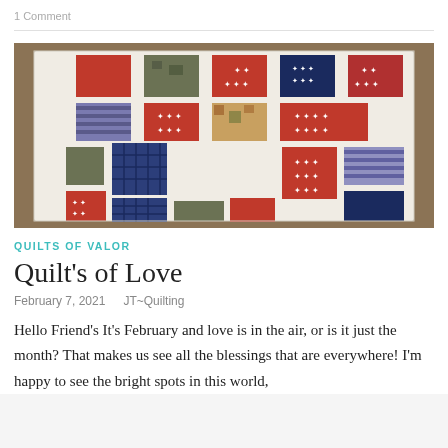1 Comment
[Figure (photo): A patriotic quilt laid out on a wooden floor, featuring red, white, and blue patchwork squares with star and plaid patterns.]
QUILTS OF VALOR
Quilt's of Love
February 7, 2021  JT~Quilting
Hello Friend's It's February and love is in the air, or is it just the month? That makes us see all the blessings that are everywhere! I'm happy to see the bright spots in this world,